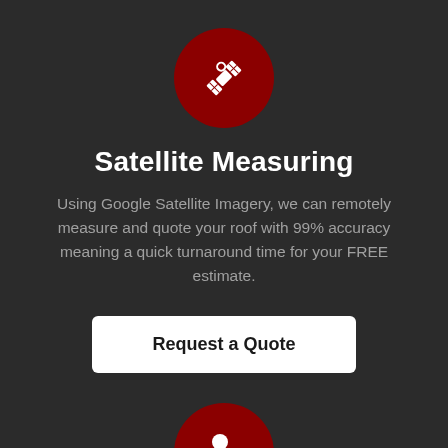[Figure (illustration): Dark red circle icon containing a white satellite icon]
Satellite Measuring
Using Google Satellite Imagery, we can remotely measure and quote your roof with 99% accuracy meaning a quick turnaround time for your FREE estimate.
Request a Quote
[Figure (illustration): Dark red circle icon containing a white person with shield/security icon]